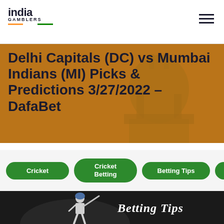india GAMBLERS
Delhi Capitals (DC) vs Mumbai Indians (MI) Picks & Predictions 3/27/2022 – DafaBet
Cricket
Cricket Betting
Betting Tips
IPL202
[Figure (photo): Cricket batsman hitting a shot in dark stadium with 'Betting Tips' text overlay in white italic script on dark background]